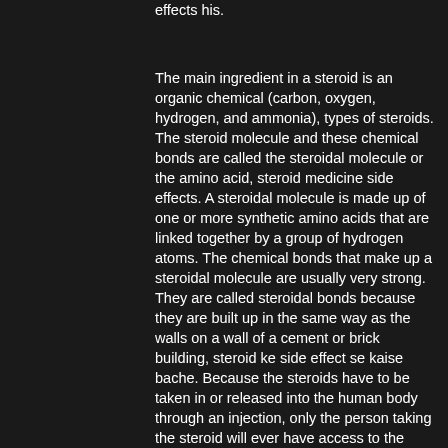effects his.
The main ingredient in a steroid is an organic chemical (carbon, oxygen, hydrogen, and ammonia), types of steroids. The steroid molecule and these chemical bonds are called the steroidal molecule or the amino acid, steroid medicine side effects. A steroidal molecule is made up of one or more synthetic amino acids that are linked together by a group of hydrogen atoms. The chemical bonds that make up a steroidal molecule are usually very strong. They are called steroidal bonds because they are built up in the same way as the walls on a wall of a cement or brick building, steroid ke side effect se kaise bache. Because the steroids have to be taken in or released into the human body through an injection, only the person taking the steroid will ever have access to the drug's active chemical, steroids for pain0. In other words, not a